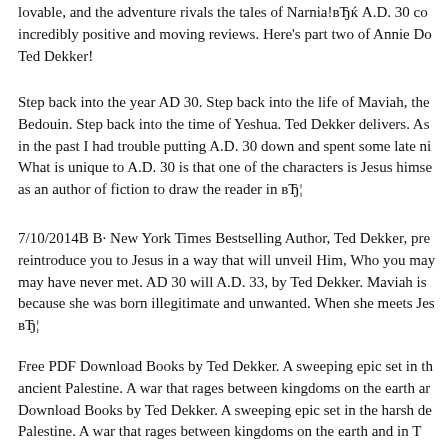lovable, and the adventure rivals the tales of Narnia!вЂќ A.D. 30 co incredibly positive and moving reviews. Here's part two of Annie Do Ted Dekker!
Step back into the year AD 30. Step back into the life of Maviah, the Bedouin. Step back into the time of Yeshua. Ted Dekker delivers. As in the past I had trouble putting A.D. 30 down and spent some late ni What is unique to A.D. 30 is that one of the characters is Jesus himse as an author of fiction to draw the reader in вЂ¦
7/10/2014В В· New York Times Bestselling Author, Ted Dekker, pre reintroduce you to Jesus in a way that will unveil Him, Who you may may have never met. AD 30 will A.D. 33, by Ted Dekker. Maviah is because she was born illegitimate and unwanted. When she meets Jes вЂ¦
Free PDF Download Books by Ted Dekker. A sweeping epic set in th ancient Palestine. A war that rages between kingdoms on the earth ar Download Books by Ted Dekker. A sweeping epic set in the harsh de Palestine. A war that rages between kingdoms on the earth and in T